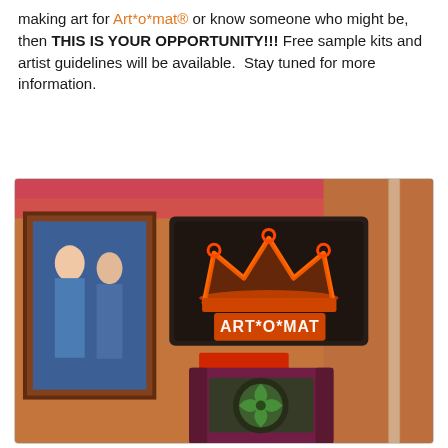making art for Art*o*mat® or know someone who might be, then THIS IS YOUR OPPORTUNITY!!! Free sample kits and artist guidelines will be available.  Stay tuned for more information.
[Figure (photo): Photo of an Art*o*mat vending machine in a dimly lit room with orange/red ambient lighting. A neon sign displaying the Art*o*mat crown logo and name is mounted on the wall above the machine. A framed painting is visible on the left wall. The vending machine has a green fan visible inside its display window.]